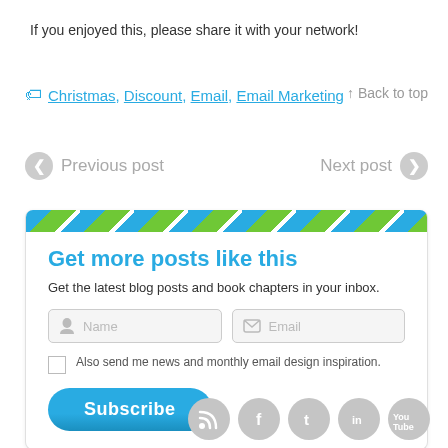If you enjoyed this, please share it with your network!
Christmas, Discount, Email, Email Marketing   ↑ Back to top
← Previous post    Next post →
Get more posts like this
Get the latest blog posts and book chapters in your inbox.
Name  Email
Also send me news and monthly email design inspiration.
Subscribe
[Figure (logo): Social media icons: RSS, Facebook, Tumblr, LinkedIn, YouTube]